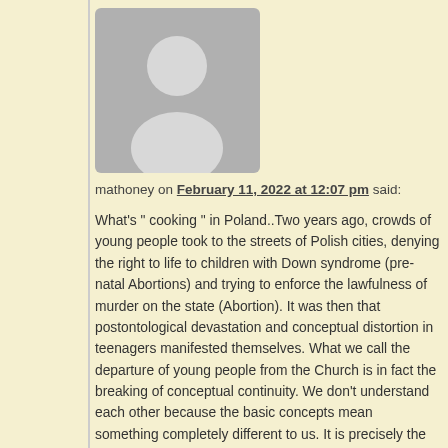[Figure (illustration): Gray silhouette avatar of a person in a rounded rectangle, representing a default user profile image]
mathoney on February 11, 2022 at 12:07 pm said:
What's " cooking " in Poland..Two years ago, crowds of young people took to the streets of Polish cities, denying the right to life to children with Down syndrome (pre-natal Abortions) and trying to enforce the lawfulness of murder on the state (Abortion). It was then that postontological devastation and conceptual distortion in teenagers manifested themselves. What we call the departure of young people from the Church is in fact the breaking of conceptual continuity. We don’t understand each other because the basic concepts mean something completely different to us. It is precisely the restoration of their true meaning to concepts that is the best response to what we associate with the departure of young people from values.
The concepts I am writing about are derived from classical knowledge protected by realistic philosophy. While we have Marxism on the one side, the alternative to it is Realistic philosophy